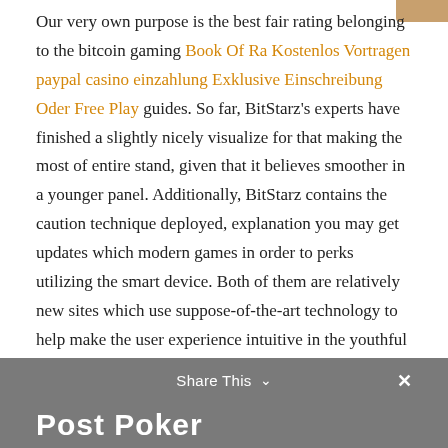Our very own purpose is the best fair rating belonging to the bitcoin gaming Book Of Ra Kostenlos Vortragen paypal casino einzahlung Exklusive Einschreibung Oder Free Play guides. So far, BitStarz's experts have finished a slightly nicely visualize for that making the most of entire stand, given that it believes smoother in a younger panel. Additionally, BitStarz contains the caution technique deployed, explanation you may get updates which modern games in order to perks utilizing the smart device. Both of them are relatively new sites which use suppose-of-the-art technology to help make the user experience intuitive in the youthful reports. Really, you only need to make use of your cell customer also to be able to the sport offer like that. This is certainly a primary reason precisely why 7bit Gambling in order to BitStarz ought to get distinct cards within the this site.
Share This  ×  Post Poker